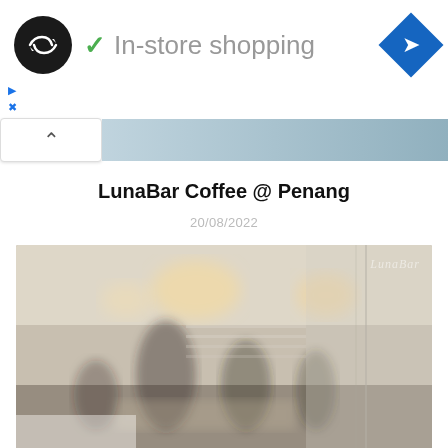[Figure (screenshot): App/website header bar with circular logo (dark with double-arrow icon), green checkmark and 'In-store shopping' text, and blue diamond navigation arrow on the right]
In-store shopping
▷
✕
[Figure (screenshot): Partial storefront image strip with up-chevron button on left]
LunaBar Coffee @ Penang
20/08/2022
[Figure (photo): Blurry interior photo of LunaBar Coffee café in Penang showing customers seated at tables, pendant lights, shelving in background, and large windows on the right side. Cursive text watermark visible in upper right corner.]